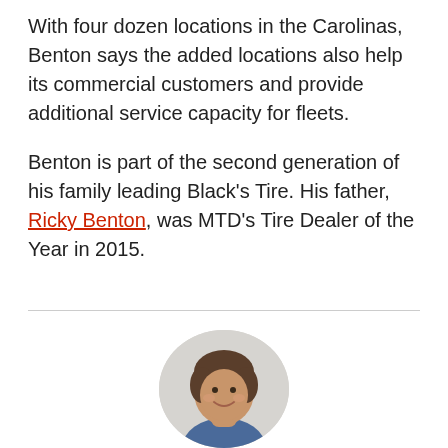With four dozen locations in the Carolinas, Benton says the added locations also help its commercial customers and provide additional service capacity for fleets.
Benton is part of the second generation of his family leading Black's Tire. His father, Ricky Benton, was MTD's Tire Dealer of the Year in 2015.
[Figure (photo): Circular portrait photo of a woman with short brown hair, smiling, wearing a blue top, against a light background.]